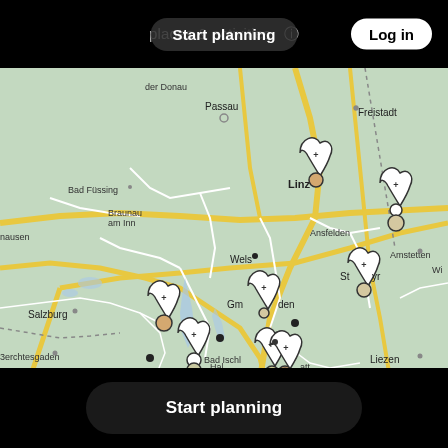Start planning  places & activities  Log in
[Figure (map): Interactive map showing upper Austria and Bavaria region including cities: der Donau, Passau, Freistadt, Bad Füssing, Braunau am Inn, Linz, Ansfelden, hausen, Wels, Amstetten, Wi, Salzburg, Steyr, Gmunden, Bad Ischl, Berchtesgaden, Hallstatt, Liezen. Map shows road network with yellow major roads and white minor roads on light green terrain background. Multiple black pin markers and white circle markers with plus signs indicating points of interest.]
Start planning